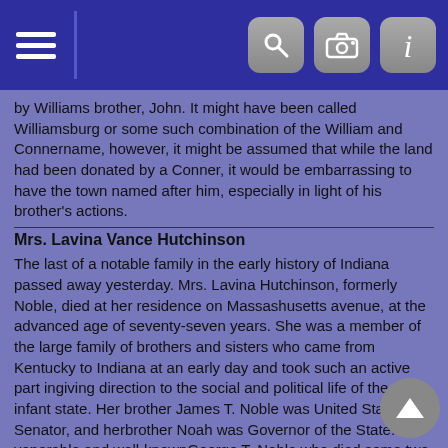Navigation bar with hamburger menu and icons for search, camera, and info
by Williams brother, John. It might have been called Williamsburg or some such combination of the William and Connername, however, it might be assumed that while the land had been donated by a Conner, it would be embarrassing to have the town named after him, especially in light of his brother's actions.
Mrs. Lavina Vance Hutchinson
The last of a notable family in the early history of Indiana passed away yesterday. Mrs. Lavina Hutchinson, formerly Noble, died at her residence on Massashusetts avenue, at the advanced age of seventy-seven years. She was a member of the large family of brothers and sisters who came from Kentucky to Indiana at an early day and took such an active part ingiving direction to the social and political life of the then infant state. Her brother James T. Noble was United States Senator, and herbrother Noah was Governor of the State. The venerable and well-knownGeorge T. Noble who died some two years ago, at Greenwood, was one of thepioneers of this county.
Mrs. Hutchinson was twice married. Her first husband was Arthur St. Clair Vance, who spent most of his life at Lawrenceburg, Ind., but removed to this county in 1845. He died on his farm near Allisonville, in 1849. He represented this county in the Legislature several times. Mrs. Hutchinson was a